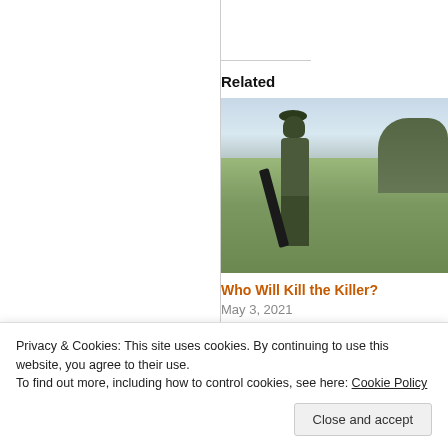Related
[Figure (photo): A person in camouflage military gear holding a rifle, standing in an open grassy field with trees in the background under a cloudy sky]
Who Will Kill the Killer?
May 3, 2021
In "Angel"
Privacy & Cookies: This site uses cookies. By continuing to use this website, you agree to their use.
To find out more, including how to control cookies, see here: Cookie Policy
Close and accept